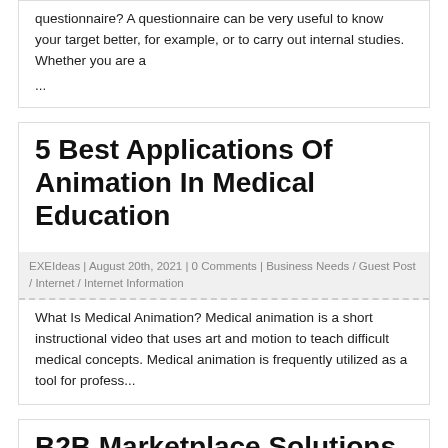questionnaire? A questionnaire can be very useful to know your target better, for example, or to carry out internal studies. Whether you are a ...
5 Best Applications Of Animation In Medical Education
EXEIdeas | August 20th, 2021 | 0 Comments | Business Needs / Guest Post / Internet / Internet Information
What Is Medical Animation? Medical animation is a short instructional video that uses art and motion to teach difficult medical concepts. Medical animation is frequently utilized as a tool for profess...
B2B Marketplace Solutions for Buyers and Sellers
EXEIdeas | August 13th, 2021 | 0 Comments | Business Needs / ECommerce
Worldwide business-to-business (B2B) eCommerce exchanges added up to US $12.2 trillion of every 2019, as indicated by a Statista report.